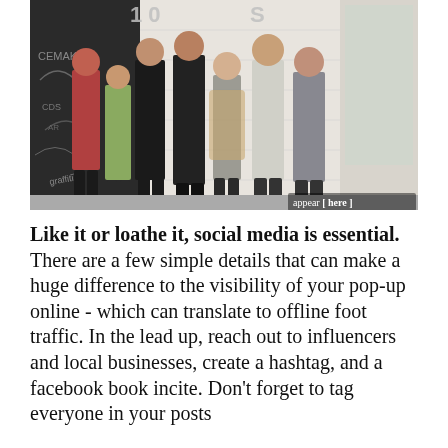[Figure (photo): Group photo of seven women posing in front of a shop with graffiti door and white brick wall. Silver balloon letters visible at top. 'appear [here]' watermark in bottom right corner.]
Like it or loathe it, social media is essential. There are a few simple details that can make a huge difference to the visibility of your pop-up online - which can translate to offline foot traffic. In the lead up, reach out to influencers and local businesses, create a hashtag, and a facebook book incite. Don't forget to tag everyone in your posts